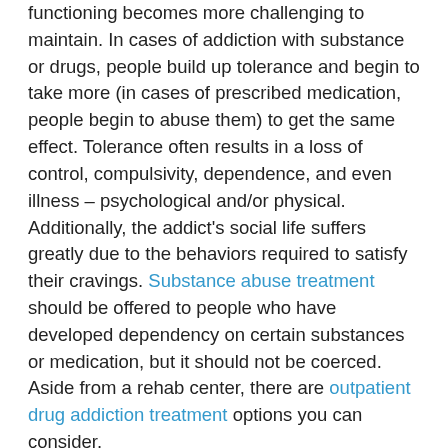functioning becomes more challenging to maintain. In cases of addiction with substance or drugs, people build up tolerance and begin to take more (in cases of prescribed medication, people begin to abuse them) to get the same effect. Tolerance often results in a loss of control, compulsivity, dependence, and even illness – psychological and/or physical. Additionally, the addict's social life suffers greatly due to the behaviors required to satisfy their cravings. Substance abuse treatment should be offered to people who have developed dependency on certain substances or medication, but it should not be coerced. Aside from a rehab center, there are outpatient drug addiction treatment options you can consider.
Unfortunately, when behaviors begin to create negative consequences, it has already gone too far. Negative consequences from addiction are revealed in many forms. When an individual becomes addicted they may experience cravings, which can be intolerable for some, rendering them unable to disengage from their addictive behaviors. Similarly, when a person has been addicted to a substance or drug and they try to stop using, withdrawals from the substance or drug can be